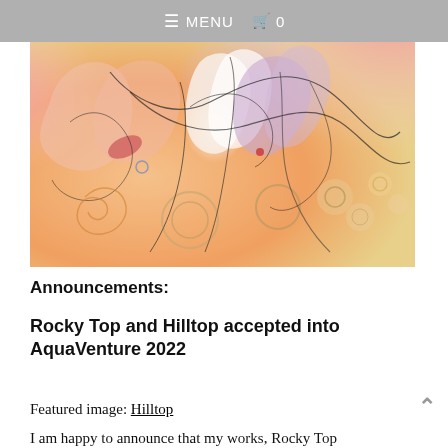☰ MENU  🛒 0
[Figure (illustration): Abstract watercolor painting with swirling organic forms in pink, orange, yellow, purple, and white tones with black line work and circular bubble-like shapes]
Announcements:
Rocky Top and Hilltop accepted into AquaVenture 2022
Featured image: Hilltop
I am happy to announce that my works, Rocky Top